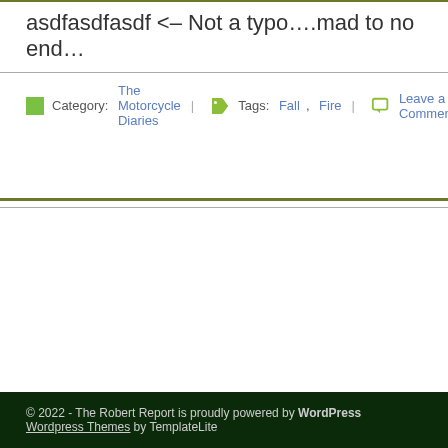asdfasdfasdf <– Not a typo….mad to no end…
Category: The Motorcycle Diaries | Tags: Fall, Fire | Leave a Comment
© 2022 - The Robert Report is proudly powered by WordPress Wordpress Themes by TemplateLite